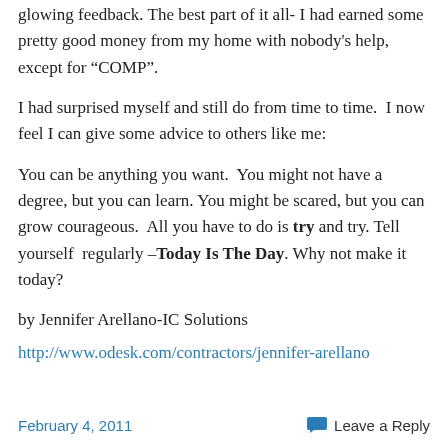glowing feedback. The best part of it all- I had earned some pretty good money from my home with nobody's help, except for “COMP”.
I had surprised myself and still do from time to time. I now feel I can give some advice to others like me:
You can be anything you want. You might not have a degree, but you can learn. You might be scared, but you can grow courageous. All you have to do is try and try. Tell yourself regularly –Today Is The Day. Why not make it today?
by Jennifer Arellano-IC Solutions
http://www.odesk.com/contractors/jennifer-arellano
February 4, 2011   Leave a Reply